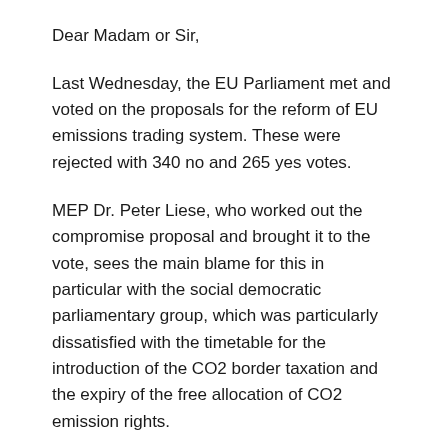Dear Madam or Sir,
Last Wednesday, the EU Parliament met and voted on the proposals for the reform of EU emissions trading system. These were rejected with 340 no and 265 yes votes.
MEP Dr. Peter Liese, who worked out the compromise proposal and brought it to the vote, sees the main blame for this in particular with the social democratic parliamentary group, which was particularly dissatisfied with the timetable for the introduction of the CO2 border taxation and the expiry of the free allocation of CO2 emission rights.
The Greens, on the other hand, found the proposal too softened by the lobbyists of the fossil industry, as MEP Michael Bloss announced.